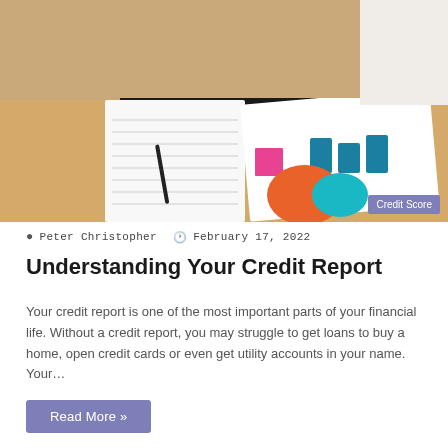[Figure (photo): Person in black t-shirt writing on lined paper with a pen, with colorful charts/graphs on a desk in front of them. A 'Credit Score' badge overlay appears at the bottom right.]
Peter Christopher   February 17, 2022
Understanding Your Credit Report
Your credit report is one of the most important parts of your financial life. Without a credit report, you may struggle to get loans to buy a home, open credit cards or even get utility accounts in your name. Your…
Read More »